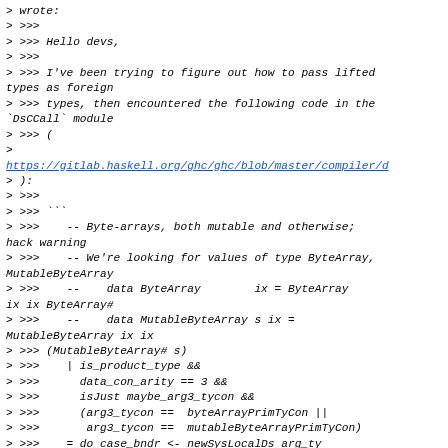> wrote:
> >>>
> >>> Hello devs,
> >>>
> >>> I've been trying to figure out how to pass lifted types as foreign
> >>> types, then encountered the following code in the `DsCCall` module
> >>> (
>
https://gitlab.haskell.org/ghc/ghc/blob/master/compiler/d
> ):
> >>>
> >>> ```
> >>>    -- Byte-arrays, both mutable and otherwise; hack warning
> >>>    -- We're looking for values of type ByteArray, MutableByteArray
> >>>    --    data ByteArray        ix = ByteArray ix ix ByteArray#
> >>>    --    data MutableByteArray s ix = MutableByteArray ix ix
> >>> (MutableByteArray# s)
> >>>    | is_product_type &&
> >>>      data_con_arity == 3 &&
> >>>      isJust maybe_arg3_tycon &&
> >>>      (arg3_tycon == byteArrayPrimTyCon ||
> >>>       arg3_tycon == mutableByteArrayPrimTyCon)
> >>>    = do case_bndr <- newSysLocalDs arg_ty
> >>>         vars@[_l_var, _r_var, arr_cts_var] <-
newSysLocalDs...